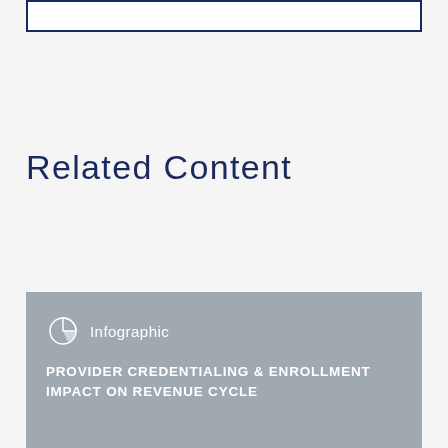[Figure (other): Empty bordered rectangle at the top of the page, dark navy blue border on white background]
Related Content
[Figure (infographic): Gray card with pie chart icon and 'Infographic' label, followed by bold white uppercase text: PROVIDER CREDENTIALING & ENROLLMENT IMPACT ON REVENUE CYCLE]